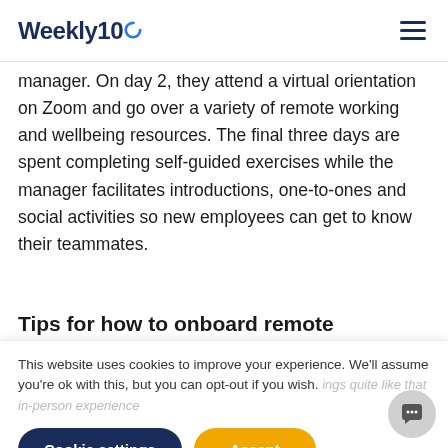Weekly10
manager. On day 2, they attend a virtual orientation on Zoom and go over a variety of remote working and wellbeing resources. The final three days are spent completing self-guided exercises while the manager facilitates introductions, one-to-ones and social activities so new employees can get to know their teammates.
Tips for how to onboard remote employees effectively
This website uses cookies to improve your experience. We'll assume you're ok with this, but you can opt-out if you wish.
Cookie settings    Accept